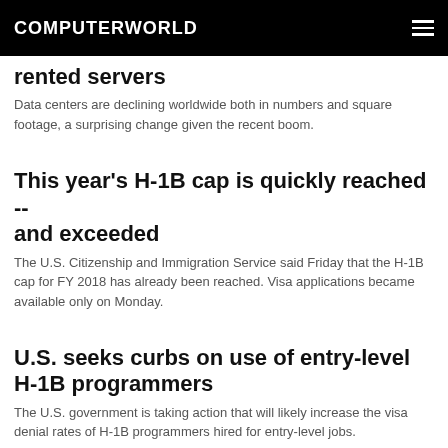COMPUTERWORLD
rented servers
Data centers are declining worldwide both in numbers and square footage, a surprising change given the recent boom.
This year's H-1B cap is quickly reached -- and exceeded
The U.S. Citizenship and Immigration Service said Friday that the H-1B cap for FY 2018 has already been reached. Visa applications became available only on Monday.
U.S. seeks curbs on use of entry-level H-1B programmers
The U.S. government is taking action that will likely increase the visa denial rates of H-1B programmers hired for entry-level jobs.
Economy boosts CIO budgets, as A.I. helps